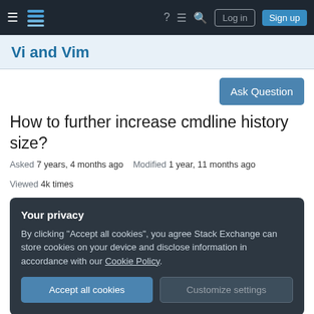Vi and Vim — Stack Exchange navigation bar with Log in and Sign up buttons
Vi and Vim
Ask Question
How to further increase cmdline history size?
Asked 7 years, 4 months ago   Modified 1 year, 11 months ago   Viewed 4k times
Your privacy
By clicking "Accept all cookies", you agree Stack Exchange can store cookies on your device and disclose information in accordance with our Cookie Policy.
Accept all cookies   Customize settings
It's been there for a while. I work in vim on a daily